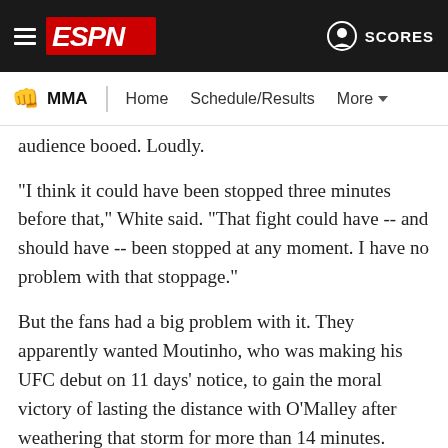ESPN MMA — Home | Schedule/Results | More | SCORES
audience booed. Loudly.
"I think it could have been stopped three minutes before that," White said. "That fight could have -- and should have -- been stopped at any moment. I have no problem with that stoppage."
But the fans had a big problem with it. They apparently wanted Moutinho, who was making his UFC debut on 11 days' notice, to gain the moral victory of lasting the distance with O'Malley after weathering that storm for more than 14 minutes.
Moutinho's face was badly disfigured, blood spewing out of his mouth to go along with a busted nose and two black eyes. The stoppage, and the criticism that followed, seemed to overshadow an excellent performance from O'Malley.